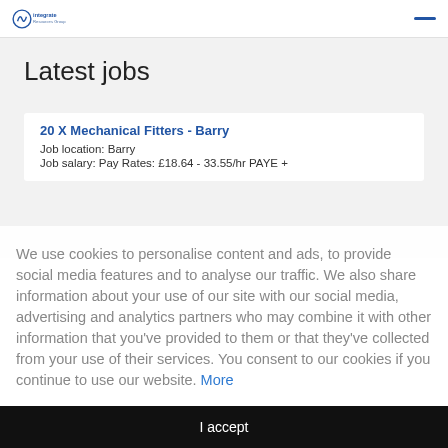Integrate Resources Group
Latest jobs
20 X Mechanical Fitters - Barry
Job location: Barry
Job salary: Pay Rates: £18.64 - 33.55/hr PAYE +
We use cookies to personalise content and ads, to provide social media features and to analyse our traffic. We also share information about your use of our site with our social media, advertising and analytics partners who may combine it with other information that you've provided to them or that they've collected from your use of their services. You consent to our cookies if you continue to use our website. More
I accept